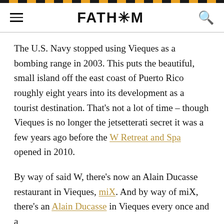FATH*M
The U.S. Navy stopped using Vieques as a bombing range in 2003. This puts the beautiful, small island off the east coast of Puerto Rico roughly eight years into its development as a tourist destination. That's not a lot of time – though Vieques is no longer the jetsetterati secret it was a few years ago before the W Retreat and Spa opened in 2010.
By way of said W, there's now an Alain Ducasse restaurant in Vieques, miX. And by way of miX, there's an Alain Ducasse in Vieques every once and a